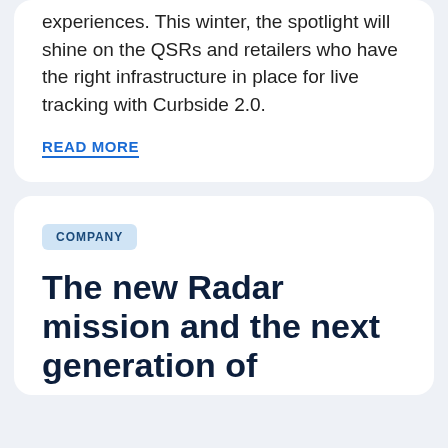experiences. This winter, the spotlight will shine on the QSRs and retailers who have the right infrastructure in place for live tracking with Curbside 2.0.
READ MORE
COMPANY
The new Radar mission and the next generation of